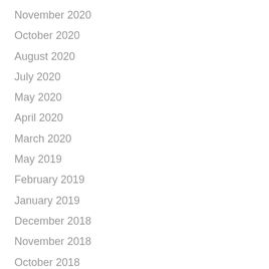November 2020
October 2020
August 2020
July 2020
May 2020
April 2020
March 2020
May 2019
February 2019
January 2019
December 2018
November 2018
October 2018
August 2018